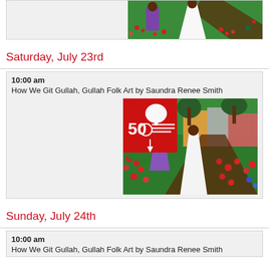[Figure (photo): Cropped top portion of a folk art painting showing women in a garden with flowers, partially visible at top of page]
Saturday, July 23rd
10:00 am
How We Git Gullah, Gullah Folk Art by Saundra Renee Smith
[Figure (photo): Folk art painting of a colorful street scene with women in white and purple dresses among red flowers, with a red '50 Art League of Hilton Head' logo overlay in top left corner]
Sunday, July 24th
10:00 am
How We Git Gullah, Gullah Folk Art by Saundra Renee Smith